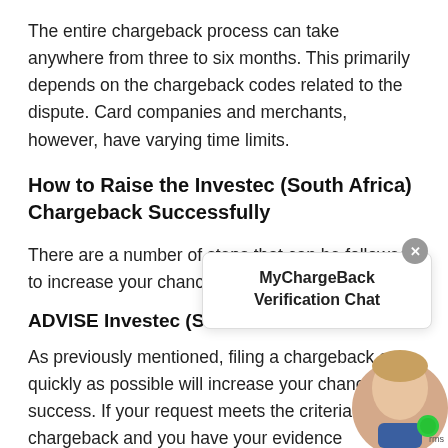The entire chargeback process can take anywhere from three to six months. This primarily depends on the chargeback codes related to the dispute. Card companies and merchants, however, have varying time limits.
How to Raise the Investec (South Africa) Chargeback Successfully
There are a number of steps that can be followed to increase your chances of success.
ADVISE Investec (S...
As previously mentioned, filing a chargeback as quickly as possible will increase your chances of success. If your request meets the criteria for a chargeback and you have your evidence
[Figure (screenshot): MyChargeBack Verification Chat widget overlay showing chat title and avatar with green online indicator dot]